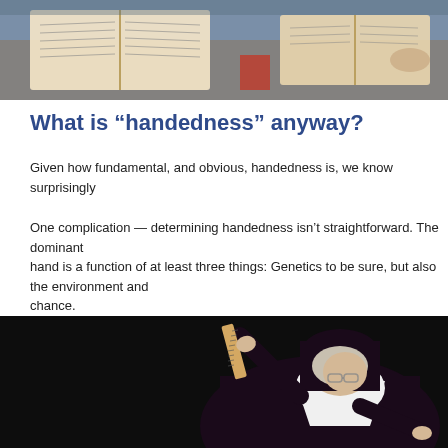[Figure (photo): People sitting at a table with open large books, viewed from above at an angle. Background shows bookshelves.]
What is “handedness” anyway?
Given how fundamental, and obvious, handedness is, we know surprisingly
One complication — determining handedness isn’t straightforward. The dominant hand is a function of at least three things: Genetics to be sure, but also the environment and chance.
[Figure (photo): A nun in dark habit and white wimple holds a wooden ruler raised in her right hand while pointing with her left hand, against a dark background.]